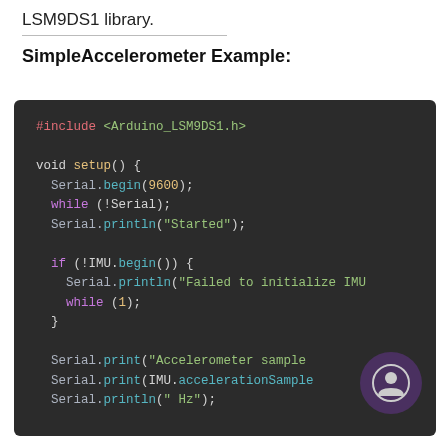LSM9DS1 library.
SimpleAccelerometer Example:
[Figure (screenshot): Dark-themed code editor showing Arduino C++ code for a SimpleAccelerometer example using the LSM9DS1 library. Code includes #include <Arduino_LSM9DS1.h>, void setup() with Serial.begin(9600), while(!Serial), Serial.println("Started"), if(!IMU.begin()) block with Serial.println("Failed to initialize IMU") and while(1), then Serial.print("Accelerometer sample..."), Serial.print(IMU.accelerationSampleRate()), Serial.println(" Hz").]